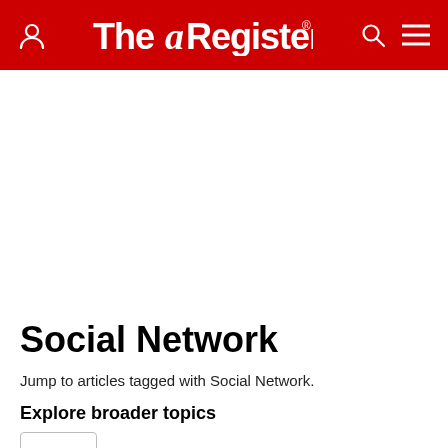The Register
Social Network
Jump to articles tagged with Social Network.
Explore broader topics